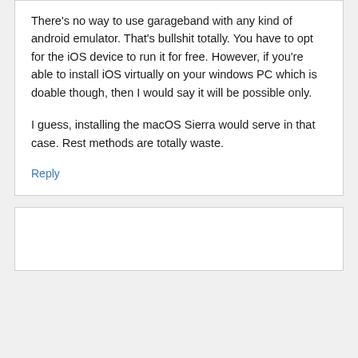There's no way to use garageband with any kind of android emulator. That's bullshit totally. You have to opt for the iOS device to run it for free. However, if you're able to install iOS virtually on your windows PC which is doable though, then I would say it will be possible only.

I guess, installing the macOS Sierra would serve in that case. Rest methods are totally waste.
Reply